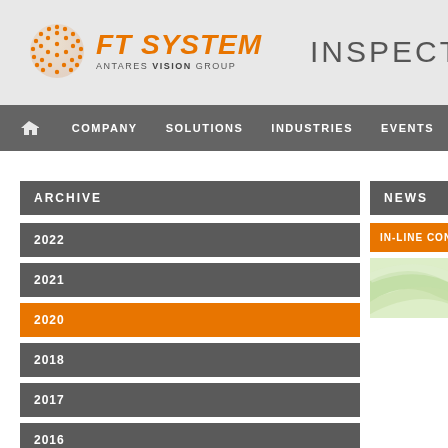[Figure (logo): FT System Antares Vision Group logo with orange sphere graphic]
INSPECTION
🏠  COMPANY   SOLUTIONS   INDUSTRIES   EVENTS
ARCHIVE
2022
2021
2020
2018
2017
2016
2014
NEWS
IN-LINE CONTROL OF PA
[Figure (photo): Green tinted abstract wave/swoosh image for news article]